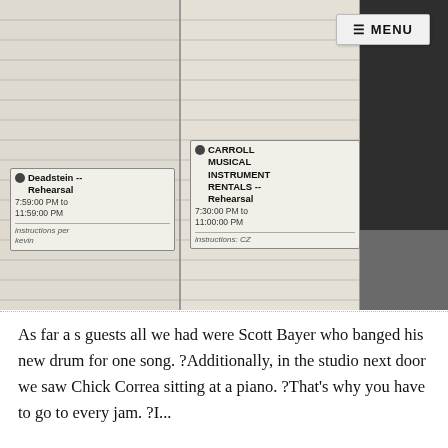[Figure (photo): Screenshot of a calendar/scheduling application showing two events: 'Deadstein -- Rehearsal 7:59:00 PM to 11:59:00 PM, instructions per kevin' in the left column, and 'CARROLL MUSICAL INSTRUMENT RENTALS -- Rehearsal 7:30:00 PM to 11:00:00 PM, instructions: CZ' in the middle column. A dark right panel is visible. A MENU button appears in the top right corner.]
As far a s guests all we had were Scott Bayer who banged his new drum for one song. ?Additionally, in the studio next door we saw Chick Correa sitting at a piano. ?That's why you have to go to every jam. ?I...